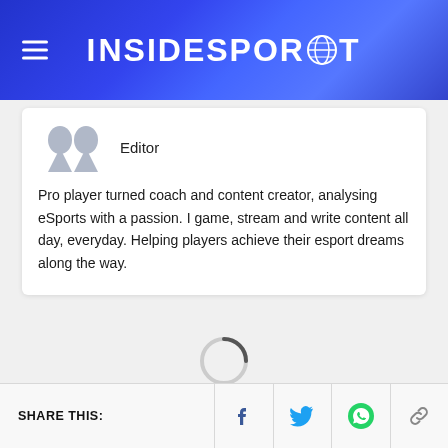INSIDESPORT
[Figure (logo): InsideSport logo with globe icon in blue header with hamburger menu]
Editor
Pro player turned coach and content creator, analysing eSports with a passion. I game, stream and write content all day, everyday. Helping players achieve their esport dreams along the way.
[Figure (other): Loading spinner circle indicator]
SHARE THIS: